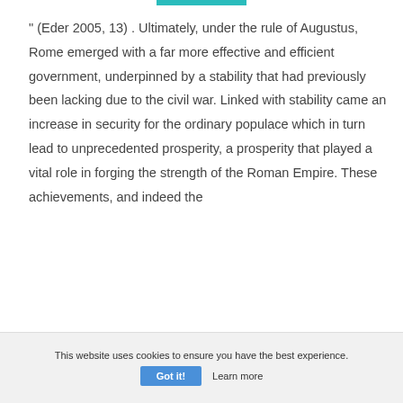" (Eder 2005, 13) . Ultimately, under the rule of Augustus, Rome emerged with a far more effective and efficient government, underpinned by a stability that had previously been lacking due to the civil war. Linked with stability came an increase in security for the ordinary populace which in turn lead to unprecedented prosperity, a prosperity that played a vital role in forging the strength of the Roman Empire. These achievements, and indeed the
This website uses cookies to ensure you have the best experience. Got it! Learn more